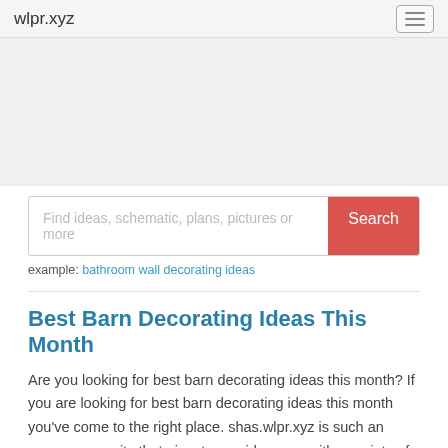wlpr.xyz
[Figure (other): Advertisement / banner image area (gray placeholder)]
Find ideas, schematic, plans, pictures or more [Search button]
example: bathroom wall decorating ideas
Best Barn Decorating Ideas This Month
Are you looking for best barn decorating ideas this month? If you are looking for best barn decorating ideas this month you've come to the right place. shas.wlpr.xyz is such an open community that aims to provide users with a variety of ideas, schematic, plans, pictures and